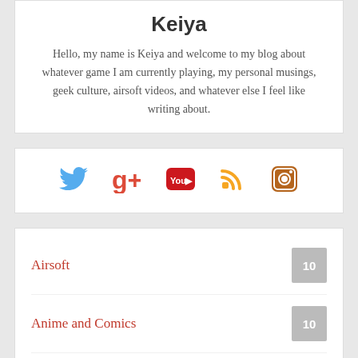Keiya
Hello, my name is Keiya and welcome to my blog about whatever game I am currently playing, my personal musings, geek culture, airsoft videos, and whatever else I feel like writing about.
[Figure (infographic): Social media icons: Twitter (blue bird), Google+ (red), YouTube (red), RSS (orange), Instagram (brown camera)]
Airsoft 10
Anime and Comics 10
Battlestation 3
Dwarf Fortress